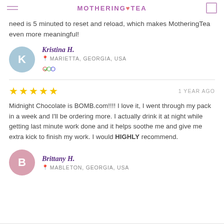MOTHERING TEA
need is 5 minuted to reset and reload, which makes MotheringTea even more meaningful!
Kristina H.
MARIETTA, GEORGIA, USA
★★★★★   1 YEAR AGO
Midnight Chocolate is BOMB.com!!!! I love it, I went through my pack in a week and I'll be ordering more. I actually drink it at night while getting last minute work done and it helps soothe me and give me extra kick to finish my work. I would HIGHLY recommend.
Brittany H.
MABLETON, GEORGIA, USA